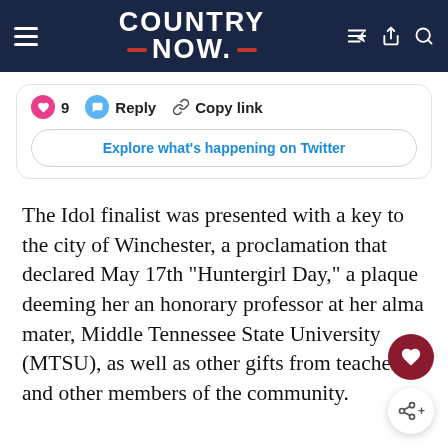COUNTRY NOW
[Figure (screenshot): Twitter/X interaction buttons showing heart (9 likes), Reply, Copy link, and an 'Explore what's happening on Twitter' button]
The Idol finalist was presented with a key to the city of Winchester, a proclamation that declared May 17th “Huntergirl Day,” a plaque deeming her an honorary professor at her alma mater, Middle Tennessee State University (MTSU), as well as other gifts from teachers and other members of the community.